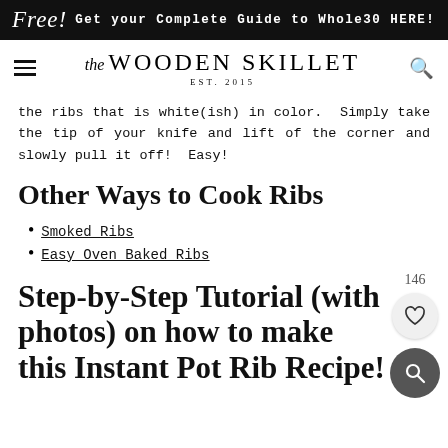Free! Get your Complete Guide to Whole30 HERE!
The Wooden Skillet EST. 2015
the ribs that is white(ish) in color. Simply take the tip of your knife and lift of the corner and slowly pull it off! Easy!
Other Ways to Cook Ribs
Smoked Ribs
Easy Oven Baked Ribs
Step-by-Step Tutorial (with photos) on how to make this Instant Pot Rib Recipe!